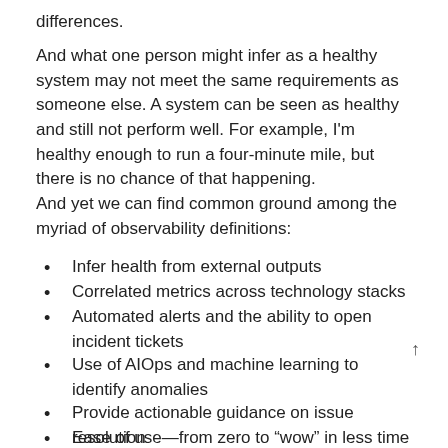differences.
And what one person might infer as a healthy system may not meet the same requirements as someone else. A system can be seen as healthy and still not perform well. For example, I'm healthy enough to run a four-minute mile, but there is no chance of that happening.
And yet we can find common ground among the myriad of observability definitions:
Infer health from external outputs
Correlated metrics across technology stacks
Automated alerts and the ability to open incident tickets
Use of AIOps and machine learning to identify anomalies
Provide actionable guidance on issue resolution
Ease of use—from zero to “wow” in less time than it takes to fill a dumpster